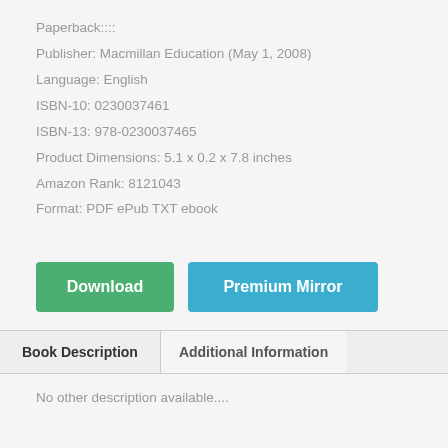Paperback::::
Publisher: Macmillan Education (May 1, 2008)
Language: English
ISBN-10: 0230037461
ISBN-13: 978-0230037465
Product Dimensions: 5.1 x 0.2 x 7.8 inches
Amazon Rank: 8121043
Format: PDF ePub TXT ebook
[Figure (other): Download button (green) and Premium Mirror button (blue)]
Book Description | Additional Information
No other description available....